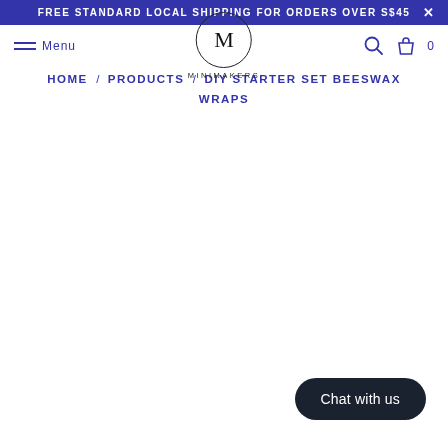FREE STANDARD LOCAL SHIPPING FOR ORDERS OVER S$45  X
[Figure (logo): Minimakers logo: circle with M letter and MINIMAKERS5 text below, with Menu hamburger, search and cart icons]
HOME / PRODUCTS / DIY STARTER SET BEESWAX WRAPS
Chat with us